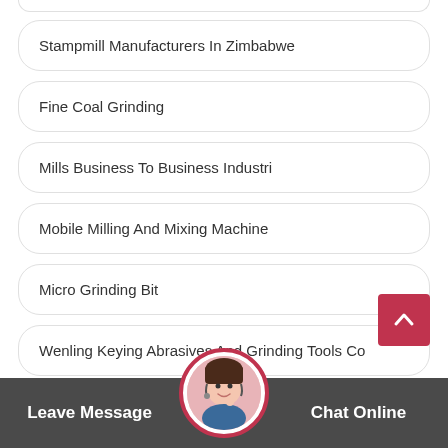Stampmill Manufacturers In Zimbabwe
Fine Coal Grinding
Mills Business To Business Industri
Mobile Milling And Mixing Machine
Micro Grinding Bit
Wenling Keying Abrasives And Grinding Tools Co
Of Maint Of Coal Mills
Manignow Magic Mill 111 Plus Wheat Grinder
Leave Message
Chat Online